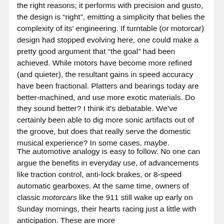the right reasons; it performs with precision and gusto, the design is “right”, emitting a simplicity that belies the complexity of its’ engineering. If turntable (or motorcar) design had stopped evolving here, one could make a pretty good argument that “the goal” had been achieved. While motors have become more refined (and quieter), the resultant gains in speed accuracy have been fractional. Platters and bearings today are better-machined, and use more exotic materials. Do they sound better? I think it’s debatable. We’ve certainly been able to dig more sonic artifacts out of the groove, but does that really serve the domestic musical experience? In some cases, maybe.
The automotive analogy is easy to follow. No one can argue the benefits in everyday use, of advancements like traction control, anti-lock brakes, or 8-speed automatic gearboxes. At the same time, owners of classic motorcars like the 911 still wake up early on Sunday mornings, their hearts racing just a little with anticipation. These are more